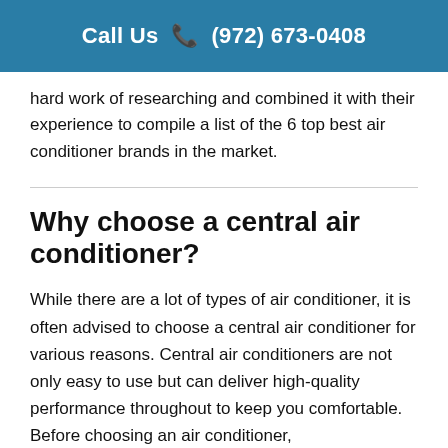Call Us ☎ (972) 673-0408
hard work of researching and combined it with their experience to compile a list of the 6 top best air conditioner brands in the market.
Why choose a central air conditioner?
While there are a lot of types of air conditioner, it is often advised to choose a central air conditioner for various reasons. Central air conditioners are not only easy to use but can deliver high-quality performance throughout to keep you comfortable. Before choosing an air conditioner,